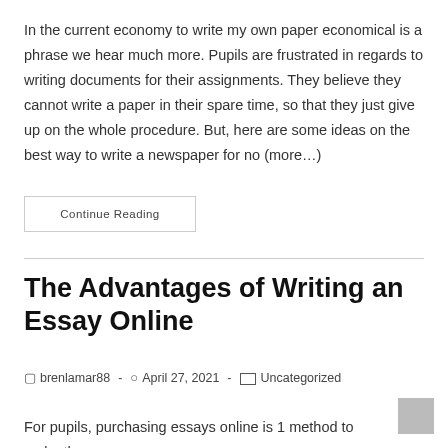In the current economy to write my own paper economical is a phrase we hear much more. Pupils are frustrated in regards to writing documents for their assignments. They believe they cannot write a paper in their spare time, so that they just give up on the whole procedure. But, here are some ideas on the best way to write a newspaper for no (more…)
Continue Reading
The Advantages of Writing an Essay Online
brenlamar88  -  April 27, 2021  -  Uncategorized
For pupils, purchasing essays online is 1 method to make the